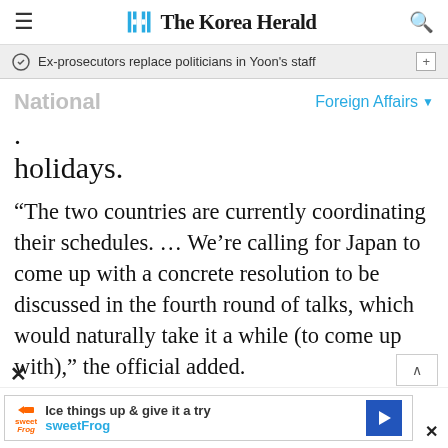The Korea Herald
Ex-prosecutors replace politicians in Yoon's staff
National
Foreign Affairs
holidays.
“The two countries are currently coordinating their schedules. … We’re calling for Japan to come up with a concrete resolution to be discussed in the fourth round of talks, which would naturally take it a while (to come up with),” the official added.
Ice things up & give it a try sweetFrog